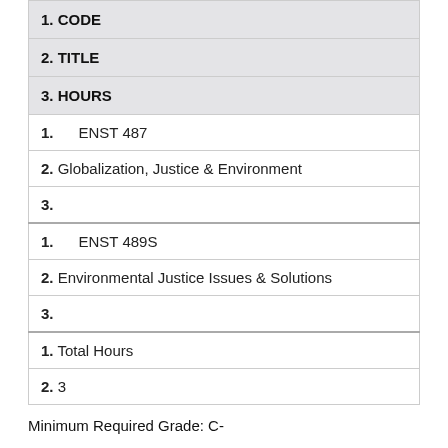| 1. CODE | 2. TITLE | 3. HOURS |
| --- | --- | --- |
| 1. ENST 487 | 2. Globalization, Justice & Environment | 3. |
| 1. ENST 489S | 2. Environmental Justice Issues & Solutions | 3. |
| 1. Total Hours | 2. 3 |  |
Minimum Required Grade: C-